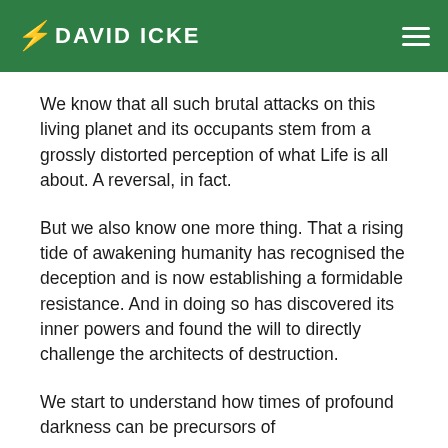DAVID ICKE
We know that all such brutal attacks on this living planet and its occupants stem from a grossly distorted perception of what Life is all about. A reversal, in fact.
But we also know one more thing. That a rising tide of awakening humanity has recognised the deception and is now establishing a formidable resistance. And in doing so has discovered its inner powers and found the will to directly challenge the architects of destruction.
We start to understand how times of profound darkness can be precursors of